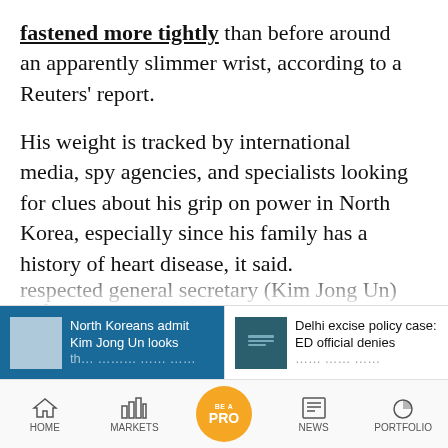fastened more tightly than before around an apparently slimmer wrist, according to a Reuters' report.
His weight is tracked by international media, spy agencies, and specialists looking for clues about his grip on power in North Korea, especially since his family has a history of heart disease, it said.
A few weeks later Reuters reported an interview shared by state broadcaster KRT of an unidentified resident of Pyongyang. "Seeing respected general secretary (Kim Jong Un)
[Figure (screenshot): News banner with two story teasers: 'North Koreans admit Kim Jong Un looks...' on blue background, and 'Delhi excise policy case: ED official denies...' on white background]
[Figure (screenshot): Bottom navigation bar with HOME, MARKETS, BE A PRO, NEWS, PORTFOLIO icons]